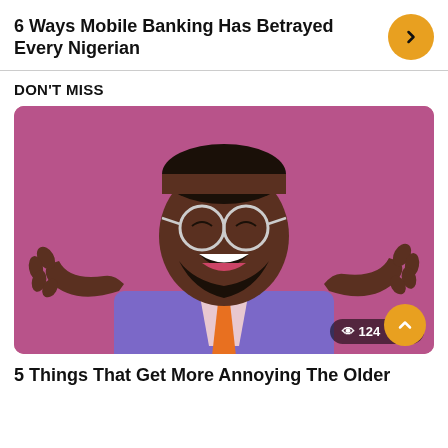6 Ways Mobile Banking Has Betrayed Every Nigerian
DON'T MISS
[Figure (photo): Man in purple jacket and orange tie with glasses, mouth open in exaggerated surprised/excited expression, hands raised, against a purple/pink background]
5 Things That Get More Annoying The Older